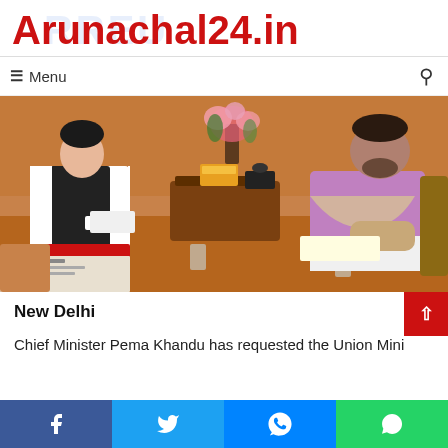Arunachal24.in
≡ Menu
[Figure (photo): Two men seated in an office-style meeting room. A man in a white shirt and black vest holds documents on the left; a man in a purple shirt with his arm in a sling holds papers on the right. A flower arrangement and a desk with a tissue box and phone are visible between them.]
New Delhi
Chief Minister Pema Khandu has requested the Union Mini...